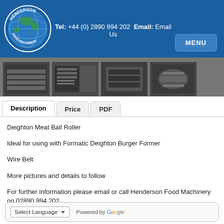[Figure (logo): Henderson Food Machinery logo - circular globe with text HENDERSON on top, FOOD MACHINERY on bottom, blue circular background]
Tel: +44 (0) 2890 994 202  Email: Email Us
[Figure (screenshot): Navigation MENU button in blue]
[Figure (photo): Row of four thumbnail images of the Deighton Meat Ball Roller machine from different angles]
Description | Price | PDF (tabs)
Deighton Meat Ball Roller
Ideal for using with Formatic Deighton Burger Former
Wire Belt
More pictures and details to follow
For further information please email or call Henderson Food Machinery on 02890 994 202
Select Language  Powered by Google